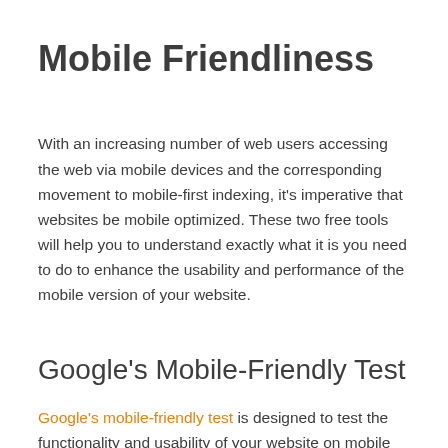Mobile Friendliness
With an increasing number of web users accessing the web via mobile devices and the corresponding movement to mobile-first indexing, it's imperative that websites be mobile optimized. These two free tools will help you to understand exactly what it is you need to do to enhance the usability and performance of the mobile version of your website.
Google's Mobile-Friendly Test
Google's mobile-friendly test is designed to test the functionality and usability of your website on mobile